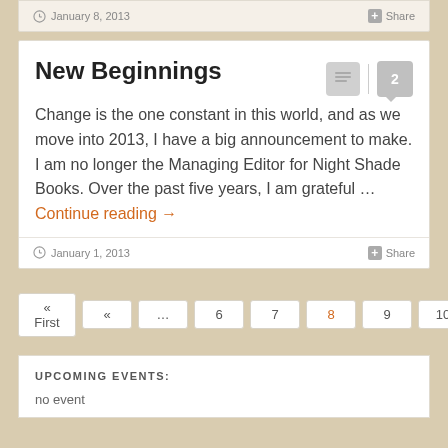January 8, 2013
Share
New Beginnings
Change is the one constant in this world, and as we move into 2013, I have a big announcement to make. I am no longer the Managing Editor for Night Shade Books. Over the past five years, I am grateful … Continue reading →
January 1, 2013
Share
« First
«
…
6
7
8
9
10
»
UPCOMING EVENTS:
no event